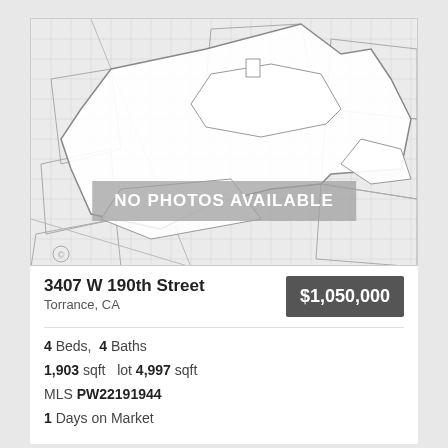[Figure (map): Property parcel map showing lot outline and surrounding lots in a grid pattern. Overlay text reads NO PHOTOS AVAILABLE.]
3407 W 190th Street
Torrance, CA
$1,050,000
4 Beds,  4 Baths
1,903 sqft   lot 4,997 sqft
MLS PW22191944
1 Days on Market